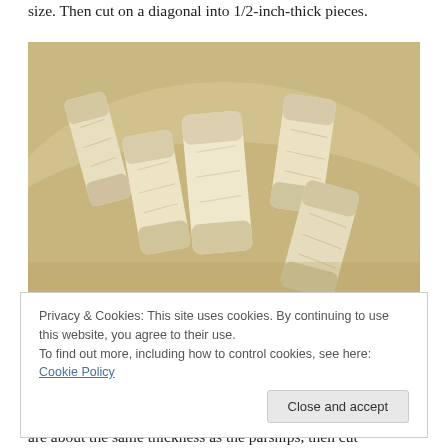size. Then cut on a diagonal into 1/2-inch-thick pieces.
[Figure (photo): A photo of several parsnip pieces cut on the diagonal, showing creamy white cylindrical chunks arranged on a light-colored surface.]
Privacy & Cookies: This site uses cookies. By continuing to use this website, you agree to their use.
To find out more, including how to control cookies, see here: Cookie Policy
are about the same thickness as the parsnips, then cut